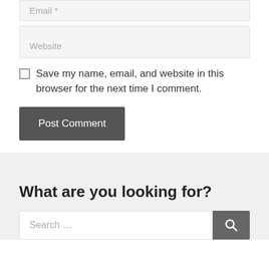Email *
Website
Save my name, email, and website in this browser for the next time I comment.
Post Comment
What are you looking for?
Search …